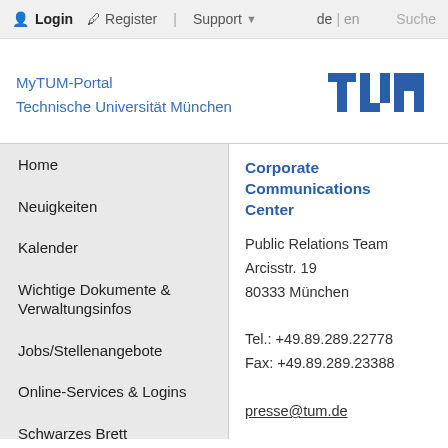Login  Register  |  Support  de | en  Suche
MyTUM-Portal
Technische Universität München
[Figure (logo): TUM logo — stylized letters T U M in blue block design]
Home
Neuigkeiten
Kalender
Wichtige Dokumente & Verwaltungsinfos
Jobs/Stellenangebote
Online-Services & Logins
Schwarzes Brett
Kontakt & Hilfe
Corporate Communications Center
Public Relations Team
Arcisstr. 19
80333 München

Tel.: +49.89.289.22778
Fax: +49.89.289.23388

presse@tum.de

Ansprechpartner